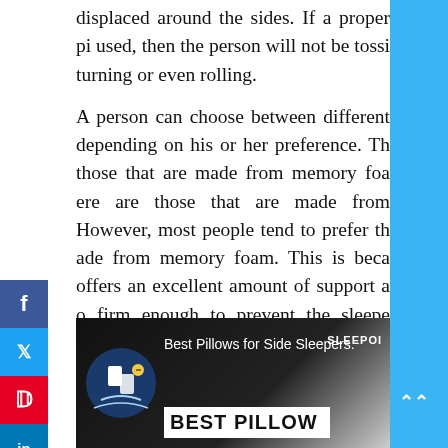displaced around the sides. If a proper pi used, then the person will not be tossing turning or even rolling.
A person can choose between different depending on his or her preference. Those that are made from memory foam, ere are those that are made from However, most people tend to prefer those made from memory foam. This is because it offers an excellent amount of support and is firm enough to prevent the sleeper from being thrown off balance. It is important to remember that all pillows offer different levels of firmness, so one can determine which one will work best depending on his individual preferences.
[Figure (screenshot): Video thumbnail showing 'Best Pillows for Side Sleepers' with a pillow logo icon on a dark background and the text BEST PILLOW and SLEEPOI logo]